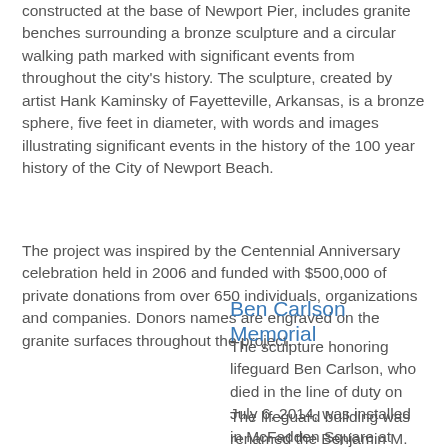constructed at the base of Newport Pier, includes granite benches surrounding a bronze sculpture and a circular walking path marked with significant events from throughout the city's history. The sculpture, created by artist Hank Kaminsky of Fayetteville, Arkansas, is a bronze sphere, five feet in diameter, with words and images illustrating significant events in the history of the 100 year history of the City of Newport Beach.
The project was inspired by the Centennial Anniversary celebration held in 2006 and funded with $500,000 of private donations from over 650 individuals, organizations and companies. Donors names are engraved on the granite surfaces throughout the project.
Ben Carlson Memorial
The sculpture honoring lifeguard Ben Carlson, who died in the line of duty on July 6, 2014, was installed in McFadden Square at Newport Pier in July 2016. The 9-foot statue, erected near the lifeguard headquarters, depicts Carlson gazing towards the ocean prepared for a rescue.
The lifeguard building was renamed the Benjamin M. Carlson Lifeguard Headquarters and a foundation, the